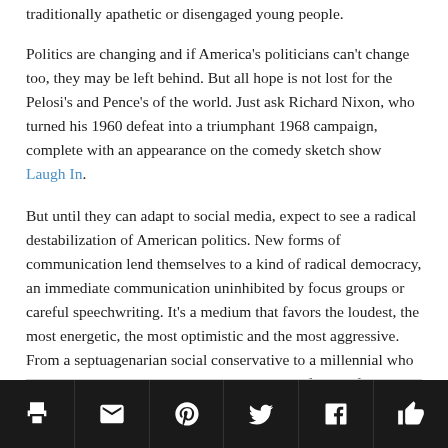traditionally apathetic or disengaged young people.
Politics are changing and if America's politicians can't change too, they may be left behind. But all hope is not lost for the Pelosi's and Pence's of the world. Just ask Richard Nixon, who turned his 1960 defeat into a triumphant 1968 campaign, complete with an appearance on the comedy sketch show Laugh In.
But until they can adapt to social media, expect to see a radical destabilization of American politics. New forms of communication lend themselves to a kind of radical democracy, an immediate communication uninhibited by focus groups or careful speechwriting. It's a medium that favors the loudest, the most energetic, the most optimistic and the most aggressive. From a septuagenarian social conservative to a millennial who talks class war on Instagram livestreams, the future of American politics is going to be won online, whether the establishment is ready for it or not.
Social share icons: print, email, pinterest, twitter, facebook, like